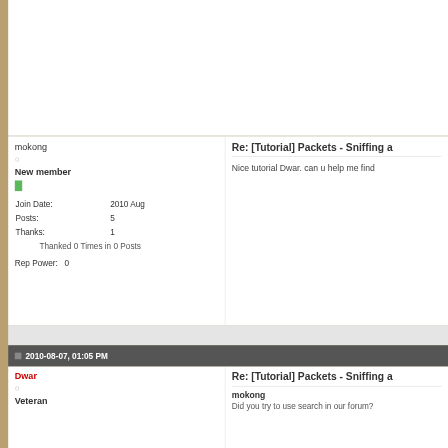mokong
○
New member
Join Date: 2010 Aug
Posts: 5
Thanks: 1
Thanked 0 Times in 0 Posts
Rep Power: 0
Re: [Tutorial] Packets - Sniffing a
Nice tutorial Dwar. can u help me find
2010-08-07, 01:05 PM
Dwar
○
Veteran
Re: [Tutorial] Packets - Sniffing a
mokong
Did you try to use search in our forum?